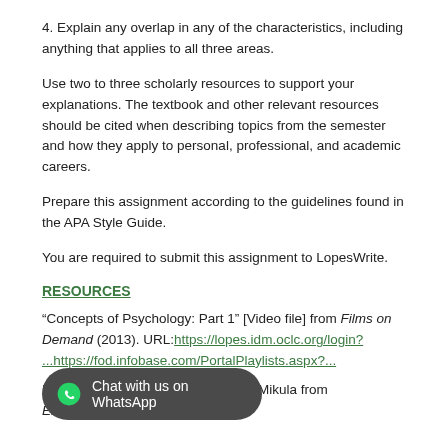3. Describe how you will use psychology in your academic careers.
4. Explain any overlap in any of the characteristics, including anything that applies to all three areas.
Use two to three scholarly resources to support your explanations. The textbook and other relevant resources should be cited when describing topics from the semester and how they apply to personal, professional, and academic careers.
Prepare this assignment according to the guidelines found in the APA Style Guide.
You are required to submit this assignment to LopesWrite.
RESOURCES
“Concepts of Psychology: Part 1” [Video file] from Films on Demand (2013). URL: https://lopes.idm.oclc.org/login?...https://fod.infobase.com/PortalPlaylists.aspx?...
Read “Social Influence” by Martin & Mikula from Encyclopaedia...